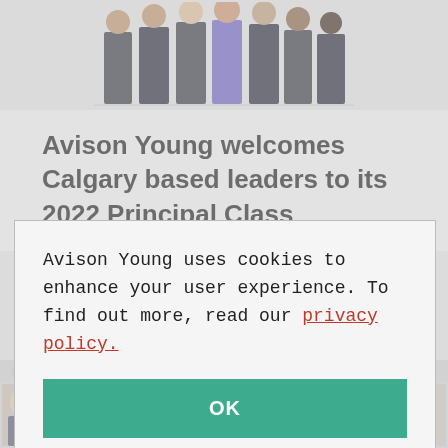[Figure (illustration): Illustration of a group of business professionals standing together, shown from waist down, on a light gray background]
Avison Young welcomes Calgary based leaders to its 2022 Principal Class
Avison Young uses cookies to enhance your user experience. To find out more, read our privacy policy.
OK
[Figure (photo): A strip of professional headshot photos of multiple people arranged in rows]